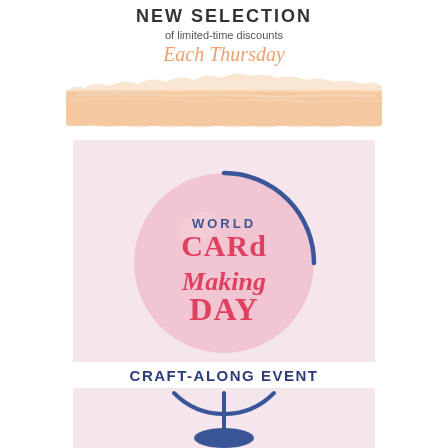NEW SELECTION
of limited-time discounts
Each Thursday
[Figure (illustration): Peach/orange paintbrush stroke banner decoration]
[Figure (illustration): World Card Making Day globe logo with pink circle and blue globe outline, text reads WORLD CARD Making DAY in red/coral lettering]
CRAFT-ALONG EVENT
[Figure (illustration): Bottom half of globe stand in blue]
join the FREE virtual event 1st OCTOBER